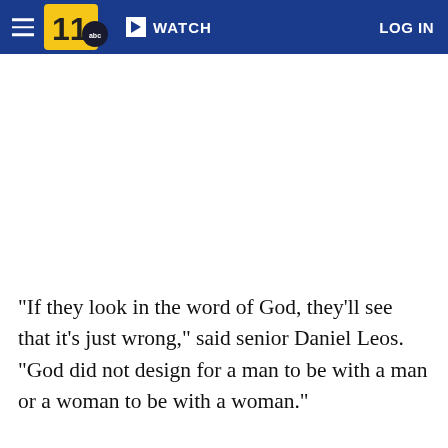WATCH  LOG IN
[Figure (logo): WTVD ABC 11 news logo — yellow numeral 11 with abc badge, on dark blue navigation bar]
"If they look in the word of God, they'll see that it's just wrong," said senior Daniel Leos. "God did not design for a man to be with a man or a woman to be with a woman."